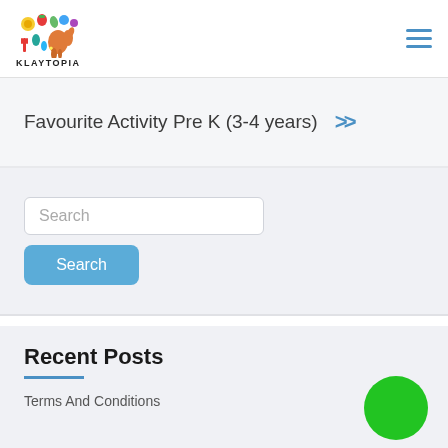[Figure (logo): Klaytopia logo with colorful fruit and animal illustrations above the text KLAYTOPIA]
KLAYTOPIA
Favourite Activity Pre K (3-4 years) >>
Search
Search
Recent Posts
Terms And Conditions